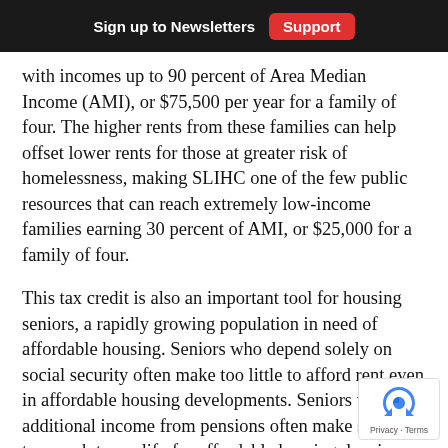Sign up to Newsletters   Support
with incomes up to 90 percent of Area Median Income (AMI), or $75,500 per year for a family of four. The higher rents from these families can help offset lower rents for those at greater risk of homelessness, making SLIHC one of the few public resources that can reach extremely low-income families earning 30 percent of AMI, or $25,000 for a family of four.
This tax credit is also an important tool for housing seniors, a rapidly growing population in need of affordable housing. Seniors who depend solely on social security often make too little to afford rent even in affordable housing developments. Seniors with additional income from pensions often make slightly too much to qualify for affordable housing, leaving struggling to pay rent. Our seniors need the kind flexibility that comes with SLIHC.